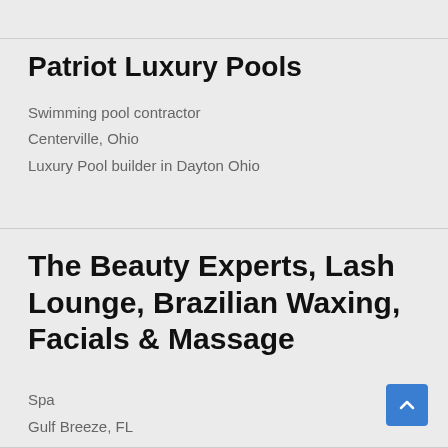Patriot Luxury Pools
Swimming pool contractor
Centerville, Ohio
Luxury Pool builder in Dayton Ohio
The Beauty Experts, Lash Lounge, Brazilian Waxing, Facials & Massage
Spa
Gulf Breeze, FL
Your One-stop Beauty Spot